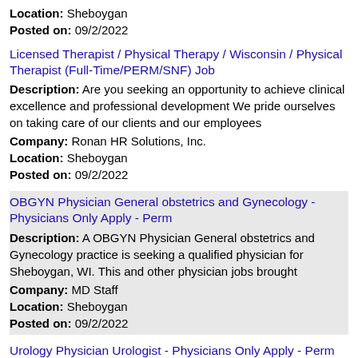Location: Sheboygan
Posted on: 09/2/2022
Licensed Therapist / Physical Therapy / Wisconsin / Physical Therapist (Full-Time/PERM/SNF) Job
Description: Are you seeking an opportunity to achieve clinical excellence and professional development We pride ourselves on taking care of our clients and our employees
Company: Ronan HR Solutions, Inc.
Location: Sheboygan
Posted on: 09/2/2022
OBGYN Physician General obstetrics and Gynecology - Physicians Only Apply - Perm
Description: A OBGYN Physician General obstetrics and Gynecology practice is seeking a qualified physician for Sheboygan, WI. This and other physician jobs brought
Company: MD Staff
Location: Sheboygan
Posted on: 09/2/2022
Urology Physician Urologist - Physicians Only Apply - Perm
Description: A Urology Physician Urologist practice is seeking a qualified physician for Sheboygan, WI. This and other physician